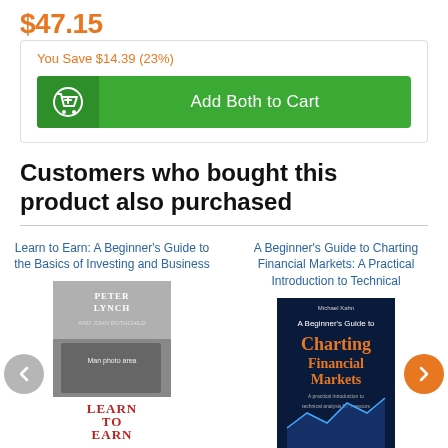$47.15
You Save $14.39 (23%)
Add Both to Cart
Customers who bought this product also purchased
Learn to Earn: A Beginner's Guide to the Basics of Investing and Business
A Beginner's Guide to Charting Financial Markets: A Practical Introduction to Technical
[Figure (photo): Book cover: Peter Lynch - Learn to Earn]
[Figure (photo): Book cover: Michael Kahn - A Beginner's Guide to Charting Financial Markets]